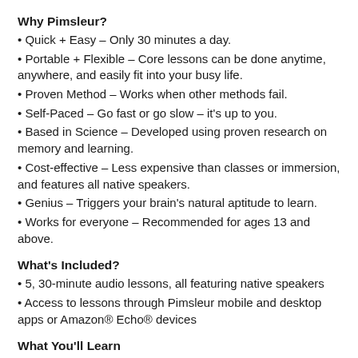Why Pimsleur?
Quick + Easy – Only 30 minutes a day.
Portable + Flexible – Core lessons can be done anytime, anywhere, and easily fit into your busy life.
Proven Method – Works when other methods fail.
Self-Paced – Go fast or go slow – it's up to you.
Based in Science – Developed using proven research on memory and learning.
Cost-effective – Less expensive than classes or immersion, and features all native speakers.
Genius – Triggers your brain's natural aptitude to learn.
Works for everyone – Recommended for ages 13 and above.
What's Included?
5, 30-minute audio lessons, all featuring native speakers
Access to lessons through Pimsleur mobile and desktop apps or Amazon® Echo® devices
What You'll Learn
This course includes Lessons 1-5 from the Arabic